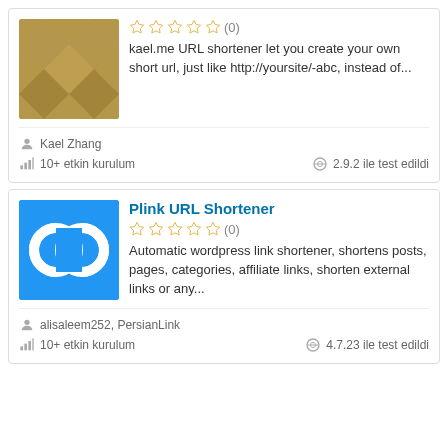[Figure (screenshot): First plugin card with diamond-pattern brown/tan thumbnail, 0-star rating, and description about kael.me URL shortener]
kael.me URL shortener let you create your own short url, just like http://yoursite/-abc, instead of...
Kael Zhang
10+ etkin kurulum
2.9.2 ile test edildi
[Figure (screenshot): Second plugin card with blue Plink URL Shortener logo showing interlocking circles]
Plink URL Shortener
Automatic wordpress link shortener, shortens posts, pages, categories, affiliate links, shorten external links or any...
alisaleem252, PersianLink
10+ etkin kurulum
4.7.23 ile test edildi